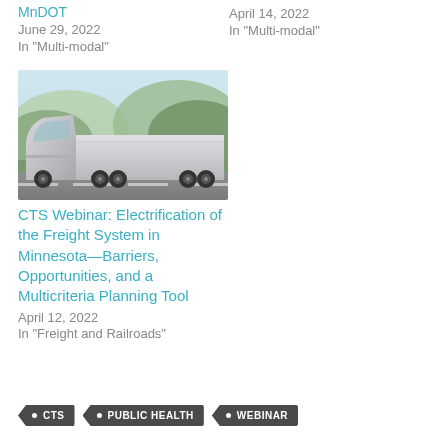MnDOT
June 29, 2022
In "Multi-modal"
April 14, 2022
In "Multi-modal"
[Figure (photo): Electric semi-truck (Tesla Semi style) driving on a highway with mountains in the background]
CTS Webinar: Electrification of the Freight System in Minnesota—Barriers, Opportunities, and a Multicriteria Planning Tool
April 12, 2022
In "Freight and Railroads"
CTS
PUBLIC HEALTH
WEBINAR